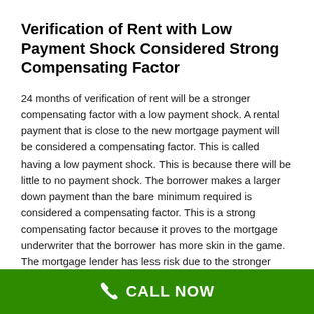Verification of Rent with Low Payment Shock Considered Strong Compensating Factor
24 months of verification of rent will be a stronger compensating factor with a low payment shock. A rental payment that is close to the new mortgage payment will be considered a compensating factor. This is called having a low payment shock. This is because there will be little to no payment shock. The borrower makes a larger down payment than the bare minimum required is considered a compensating factor. This is a strong compensating factor because it proves to the mortgage underwriter that the borrower has more skin in the game. The mortgage lender has less risk due to the stronger down payment.
Layered Risk of Mortgage Lender on VA
CALL NOW